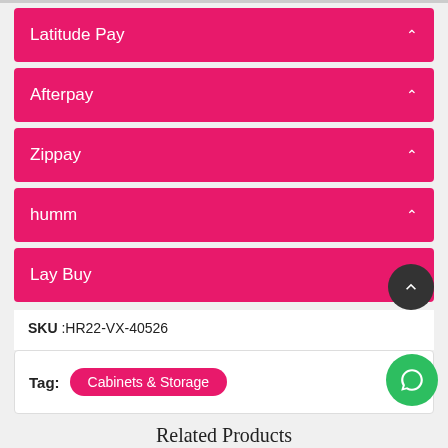Latitude Pay
Afterpay
Zippay
humm
Lay Buy
SKU :HR22-VX-40526
Tag: Cabinets & Storage
Related Products